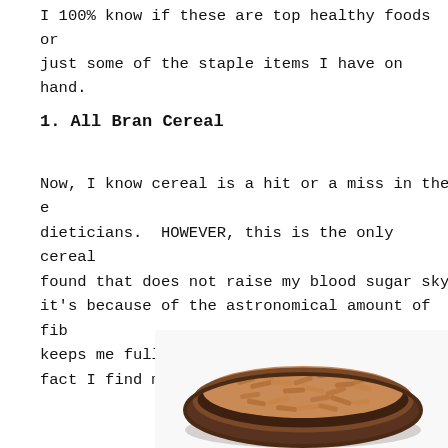I 100% know if these are top healthy foods or just some of the staple items I have on hand.
1. All Bran Cereal
Now, I know cereal is a hit or a miss in the e dieticians.  HOWEVER, this is the only cereal found that does not raise my blood sugar sky it's because of the astronomical amount of fib keeps me full, and keeps my blood sugars pre fact I find most days I over-bolus for it.
[Figure (photo): A dark brown ceramic bowl filled with All Bran cereal sticks, photographed from above on a white background.]